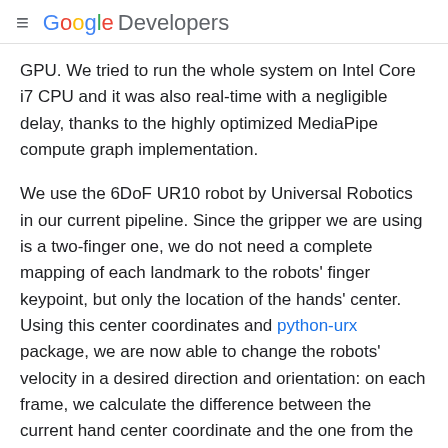≡ Google Developers
GPU. We tried to run the whole system on Intel Core i7 CPU and it was also real-time with a negligible delay, thanks to the highly optimized MediaPipe compute graph implementation.
We use the 6DoF UR10 robot by Universal Robotics in our current pipeline. Since the gripper we are using is a two-finger one, we do not need a complete mapping of each landmark to the robots' finger keypoint, but only the location of the hands' center. Using this center coordinates and python-urx package, we are now able to change the robots' velocity in a desired direction and orientation: on each frame, we calculate the difference between the current hand center coordinate and the one from the previous